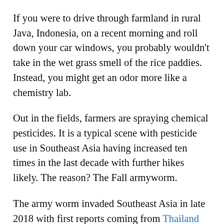If you were to drive through farmland in rural Java, Indonesia, on a recent morning and roll down your car windows, you probably wouldn't take in the wet grass smell of the rice paddies. Instead, you might get an odor more like a chemistry lab.
Out in the fields, farmers are spraying chemical pesticides. It is a typical scene with pesticide use in Southeast Asia having increased ten times in the last decade with further hikes likely. The reason? The Fall armyworm.
The army worm invaded Southeast Asia in late 2018 with first reports coming from Thailand and Myanmar. Fall armyworms tend to feed voraciously in large groups on multiple crops. The pest's ability to devastate crops is terrifying for farmers and will likely trigger ever higher use of pesticides.